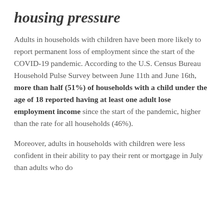housing pressure
Adults in households with children have been more likely to report permanent loss of employment since the start of the COVID-19 pandemic. According to the U.S. Census Bureau Household Pulse Survey between June 11th and June 16th, more than half (51%) of households with a child under the age of 18 reported having at least one adult lose employment income since the start of the pandemic, higher than the rate for all households (46%).
Moreover, adults in households with children were less confident in their ability to pay their rent or mortgage in July than adults who do